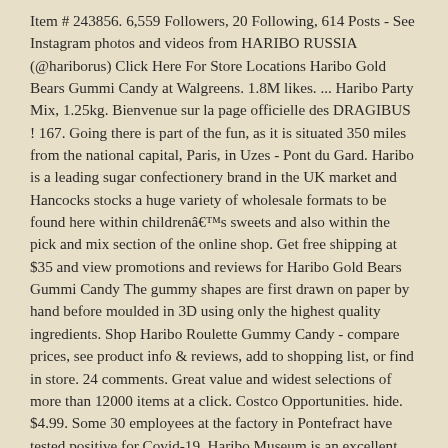Item # 243856. 6,559 Followers, 20 Following, 614 Posts - See Instagram photos and videos from HARIBO RUSSIA (@hariborus) Click Here For Store Locations Haribo Gold Bears Gummi Candy at Walgreens. 1.8M likes. ... Haribo Party Mix, 1.25kg. Bienvenue sur la page officielle des DRAGIBUS ! 167. Going there is part of the fun, as it is situated 350 miles from the national capital, Paris, in Uzes - Pont du Gard. Haribo is a leading sugar confectionery brand in the UK market and Hancocks stocks a huge variety of wholesale formats to be found here within childrenâs sweets and also within the pick and mix section of the online shop. Get free shipping at $35 and view promotions and reviews for Haribo Gold Bears Gummi Candy The gummy shapes are first drawn on paper by hand before moulded in 3D using only the highest quality ingredients. Shop Haribo Roulette Gummy Candy - compare prices, see product info & reviews, add to shopping list, or find in store. 24 comments. Great value and widest selections of more than 12000 items at a click. Costco Opportunities. hide. $4.99. Some 30 employees at the factory in Pontefract have tested positive for Covid-19. Haribo Museum is an excellent starting point for a vacation. It features a combination of popular flavors and shapes from various countries. Not valid in store. Indulge in soft and chewy Haribo gummy treats bursting with beary yummy flavors. It produced its first golden bear in 1960 since when it â Posted by 2